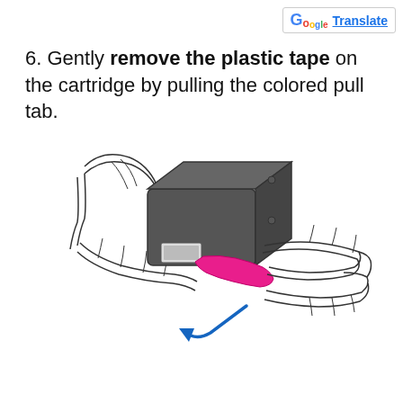Translate
6. Gently remove the plastic tape on the cartridge by pulling the colored pull tab.
[Figure (illustration): Illustration showing two hands holding an ink cartridge. The left hand holds the cartridge body (dark gray/black box) while the right hand pulls a magenta/pink colored pull tab away from the cartridge. A blue arrow indicates the direction to pull the tab downward and away.]